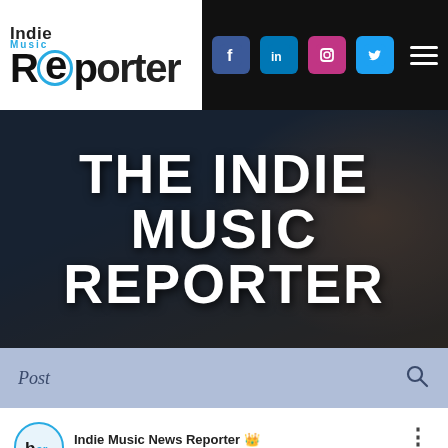Indie Music Reporter — navigation header with social icons (Facebook, LinkedIn, Instagram, Twitter) and hamburger menu
[Figure (photo): Hero banner image with dark background showing 'THE INDIE MUSIC REPORTER' in large white bold uppercase text]
Post
Indie Music News Reporter  Nov 19, 2019  •  4 min
Rabbi and Cantor Steven Blane